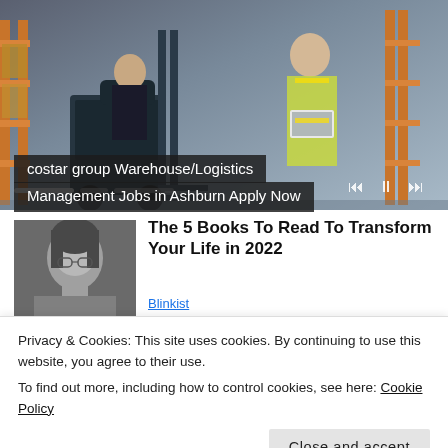[Figure (photo): Advertisement banner showing warehouse workers with forklift; two workers in safety vests reviewing documents; media playback controls visible]
costar group Warehouse/Logistics Management Jobs in Ashburn Apply Now
[Figure (photo): Grayscale photo of a person with long hair and glasses, used as article thumbnail]
The 5 Books To Read To Transform Your Life in 2022
Blinkist
Privacy & Cookies: This site uses cookies. By continuing to use this website, you agree to their use.
To find out more, including how to control cookies, see here: Cookie Policy
Close and accept